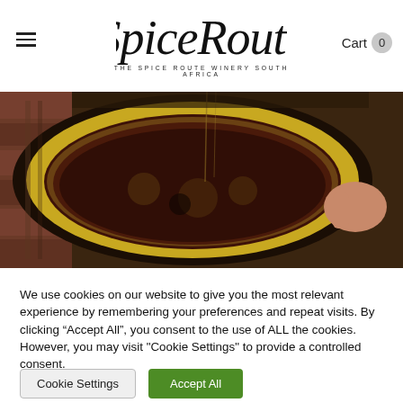SpiceRoute — THE SPICE ROUTE WINERY SOUTH AFRICA | Cart 0
[Figure (photo): Close-up overhead view of a wooden wine fermentation vessel with grape must/skins and a person's hand on the rim, yellow and reddish tones.]
We use cookies on our website to give you the most relevant experience by remembering your preferences and repeat visits. By clicking “Accept All”, you consent to the use of ALL the cookies. However, you may visit "Cookie Settings" to provide a controlled consent.
Cookie Settings  Accept All